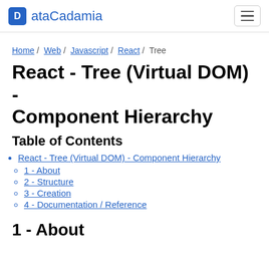ataCadamia
Home / Web / Javascript / React / Tree
React - Tree (Virtual DOM) - Component Hierarchy
Table of Contents
React - Tree (Virtual DOM) - Component Hierarchy
1 - About
2 - Structure
3 - Creation
4 - Documentation / Reference
1 - About